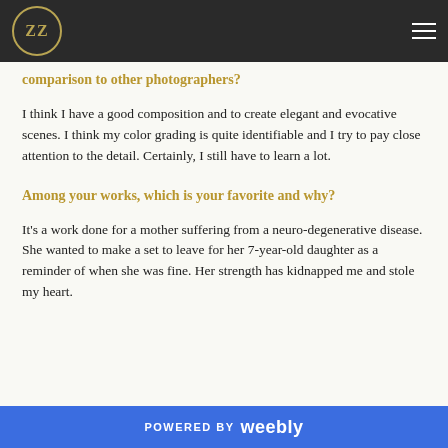ZZ [logo]
...would you say characterizes your work in comparison to other photographers?
I think I have a good composition and to create elegant and evocative scenes. I think my color grading is quite identifiable and I try to pay close attention to the detail. Certainly, I still have to learn a lot.
Among your works, which is your favorite and why?
It's a work done for a mother suffering from a neuro-degenerative disease. She wanted to make a set to leave for her 7-year-old daughter as a reminder of when she was fine. Her strength has kidnapped me and stole my heart.
POWERED BY weebly